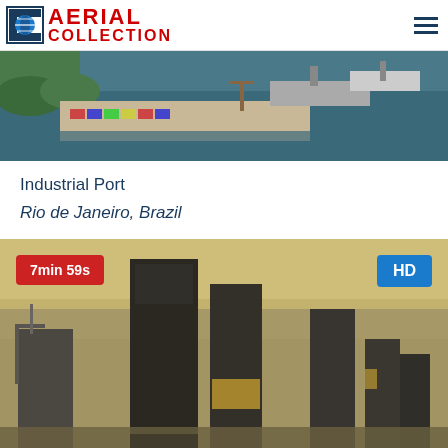AERIAL COLLECTION
[Figure (photo): Aerial view of an industrial port with ships, cranes, and colorful shipping containers along the waterfront]
Industrial Port
Rio de Janeiro, Brazil
[Figure (photo): Aerial cityscape of a dense urban skyline with tall skyscrapers shrouded in haze/smog, showing a city under construction with cranes visible on the left. Badges show 7min 59s and HD.]